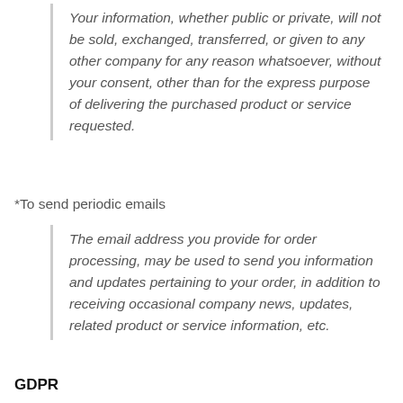Your information, whether public or private, will not be sold, exchanged, transferred, or given to any other company for any reason whatsoever, without your consent, other than for the express purpose of delivering the purchased product or service requested.
*To send periodic emails
The email address you provide for order processing, may be used to send you information and updates pertaining to your order, in addition to receiving occasional company news, updates, related product or service information, etc.
GDPR